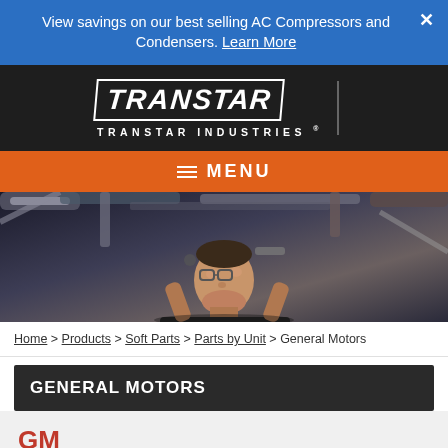View savings on our best selling AC Compressors and Condensers. Learn More
[Figure (logo): Transtar Industries logo in white on dark background with italic bold text and divider line]
≡ MENU
[Figure (photo): Mechanic looking up while working on car undercarriage]
Home > Products > Soft Parts > Parts by Unit > General Motors
GENERAL MOTORS
GM